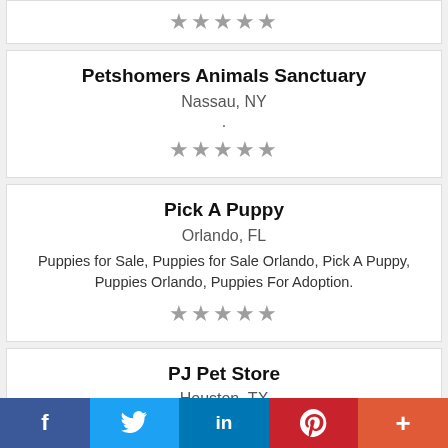[Figure (other): Partial star rating row at the top of the page (clipped from previous listing)]
Petshomers Animals Sanctuary
Nassau, NY
.
[Figure (other): Five grey star rating icons]
Pick A Puppy
Orlando, FL
Puppies for Sale, Puppies for Sale Orlando, Pick A Puppy, Puppies Orlando, Puppies For Adoption.
[Figure (other): Five grey star rating icons]
PJ Pet Store
Houston, TX
At PJ PET STORE, we provide you with an
f  [Twitter bird]  in  P  +